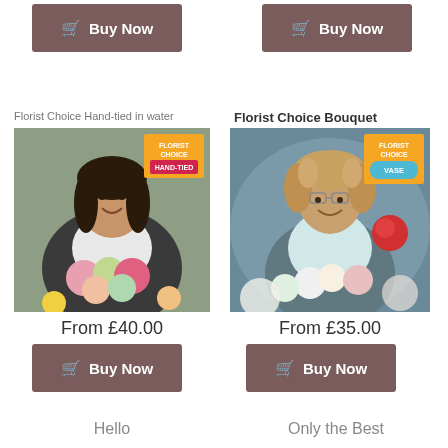[Figure (other): Buy Now button top left with shopping cart icon, brown background]
[Figure (other): Buy Now button top right with shopping cart icon, brown background]
Florist Choice Hand-tied in water
Florist Choice Bouquet
[Figure (photo): Woman florist smiling holding hand-tied bouquet with pink and red flowers, FLORIST CHOICE HAND-TIED badge in orange/red top right corner]
[Figure (photo): Woman florist with glasses smiling holding bouquet with roses and white flowers, FLORIST CHOICE VASE badge in orange/blue top right corner]
From £40.00
From £35.00
[Figure (other): Buy Now button bottom left with shopping cart icon, brown background]
[Figure (other): Buy Now button bottom right with shopping cart icon, brown background]
Hello
Only the Best